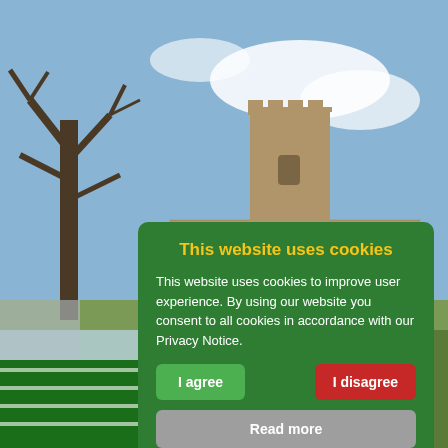[Figure (photo): Background photograph of a stone church with a square tower, bare trees to the left, under a blue sky with clouds. Below the church photo is a partially visible image of a modern building with green and white striped elements.]
This website uses cookies
This website uses cookies to improve user experience. By using our website you consent to all cookies in accordance with our Privacy Notice.
I agree
I disagree
Read more